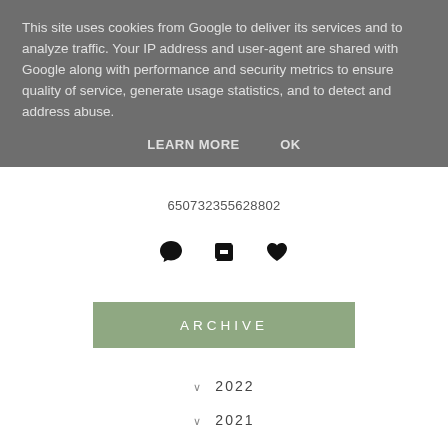This site uses cookies from Google to deliver its services and to analyze traffic. Your IP address and user-agent are shared with Google along with performance and security metrics to ensure quality of service, generate usage statistics, and to detect and address abuse.
LEARN MORE   OK
650732355628802
[Figure (other): Social interaction icons: comment bubble, retweet/repost, heart/like]
ARCHIVE
2022
2021
2020
2019
2018
2017